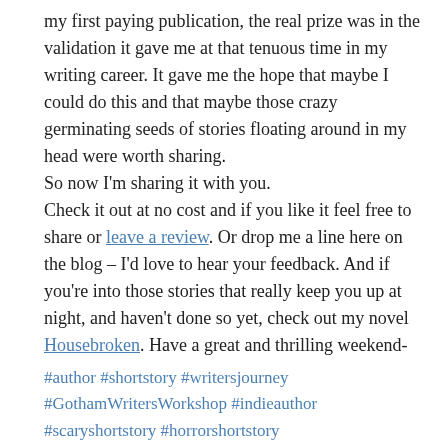my first paying publication, the real prize was in the validation it gave me at that tenuous time in my writing career. It gave me the hope that maybe I could do this and that maybe those crazy germinating seeds of stories floating around in my head were worth sharing.
So now I'm sharing it with you.
Check it out at no cost and if you like it feel free to share or leave a review. Or drop me a line here on the blog – I'd love to hear your feedback. And if you're into those stories that really keep you up at night, and haven't done so yet, check out my novel Housebroken. Have a great and thrilling weekend-
#author #shortstory #writersjourney #GothamWritersWorkshop #indieauthor #scaryshortstory #horrorshortstory